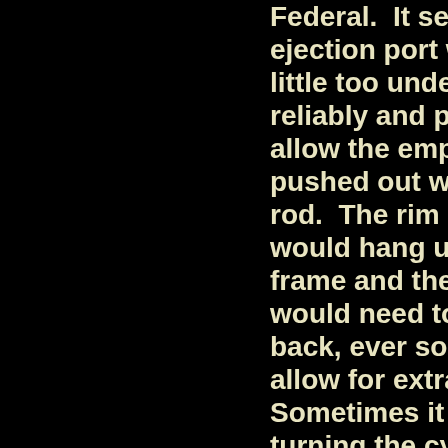Federal.  It seemed that the ejection port was cut just a little too undersize to reliably and positively allow the empty case to be pushed out with the ejector rod.  The rim of the case would hang up on the frame and the cylinder would need to be rotated back, ever so slightly, to allow for extraction.  Sometimes it even required turning the cylinder back around and catching that chamber before it clicked over to get the case to eject.  He was able to open up that ejection port